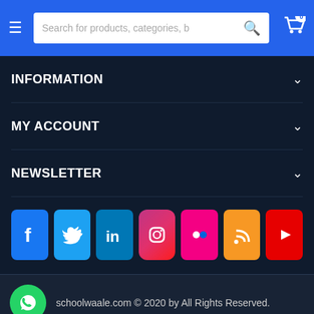[Figure (screenshot): Navigation header with hamburger menu, search bar, and cart icon on blue background]
INFORMATION
MY ACCOUNT
NEWSLETTER
[Figure (infographic): Social media icon row: Facebook, Twitter, LinkedIn, Instagram, Flickr, RSS, YouTube]
schoolwaale.com © 2020 by All Rights Reserved.
[Figure (infographic): Payment method logos: VISA, PayPal, DISCOVER, Maestro, MasterCard, American Express]